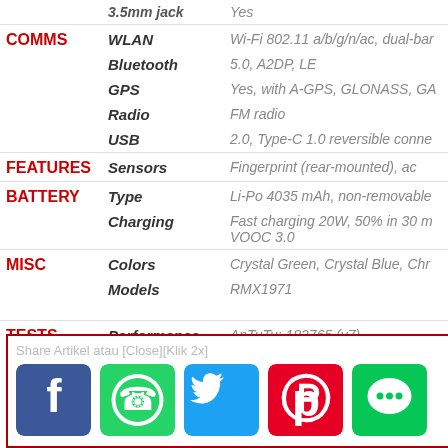| Category | Feature | Value |
| --- | --- | --- |
|  | 3.5mm jack | Yes |
| COMMS | WLAN | Wi-Fi 802.11 a/b/g/n/ac, dual-ban |
|  | Bluetooth | 5.0, A2DP, LE |
|  | GPS | Yes, with A-GPS, GLONASS, GA |
|  | Radio | FM radio |
|  | USB | 2.0, Type-C 1.0 reversible conne |
| FEATURES | Sensors | Fingerprint (rear-mounted), ac |
| BATTERY | Type | Li-Po 4035 mAh, non-removable |
|  | Charging | Fast charging 20W, 50% in 30 m
VOOC 3.0 |
| MISC | Colors | Crystal Green, Crystal Blue, Chr |
|  | Models | RMX1971 |
| TESTS | Performance | AnTuTu: 182765 (v7)
GeekBench: 6106 (v4.4)
GFXBench: 12fps (ES 3.1 onscre |
|  | Display | Contrast ratio: 1875:1 (nominal) |
|  |  | Video |
|  |  | 6dB / Noise 72dB / Ring & |
|  |  | 93.3dB / Crosstalk -92.0d |
|  |  | nce rating 100h |
[Figure (infographic): Social share overlay with Facebook, WhatsApp, Twitter, Pinterest, and LINE buttons, bordered in dark red. Label reads 'Share Artikel atau [Close][Klik 2x]']